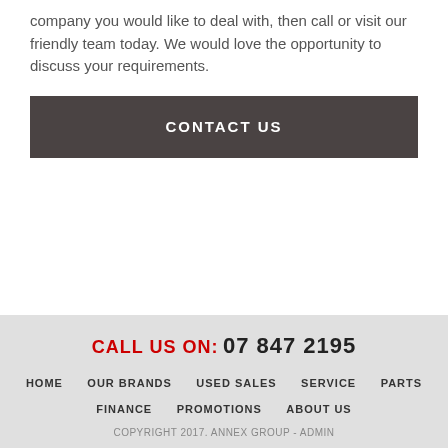company you would like to deal with, then call or visit our friendly team today. We would love the opportunity to discuss your requirements.
CONTACT US
CALL US ON: 07 847 2195
HOME   OUR BRANDS   USED SALES   SERVICE   PARTS
FINANCE   PROMOTIONS   ABOUT US
COPYRIGHT 2017. ANNEX GROUP - ADMIN